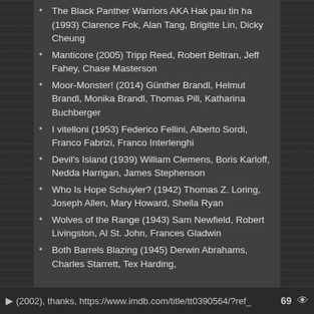The Black Panther Warriors AKA Hak pau tin ha (1993) Clarence Fok, Alan Tang, Brigitte Lin, Dicky Cheung
Manticore (2005) Tripp Reed, Robert Beltran, Jeff Fahey, Chase Masterson
Moor-Monster! (2014) Günther Brandl, Helmut Brandl, Monika Brandl, Thomas Pill, Katharina Buchberger
I vitelloni (1953) Federico Fellini, Alberto Sordi, Franco Fabrizi, Franco Interlenghi
Devil's Island (1939) William Clemens, Boris Karloff, Nedda Harrigan, James Stephenson
Who Is Hope Schuyler? (1942) Thomas Z. Loring, Joseph Allen, Mary Howard, Sheila Ryan
Wolves of the Range (1943) Sam Newfield, Robert Livingston, Al St. John, Frances Gladwin
Both Barrels Blazing (1945) Derwin Abrahams, Charles Starrett, Tex Harding,
(2002), thanks, https://www.imdb.com/title/tt0390564/?ref_  69